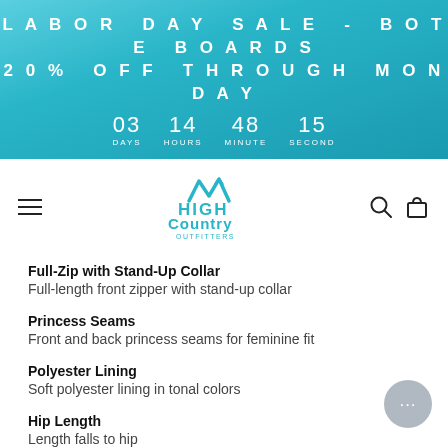LABOR DAY SALE - BOTE BOARDS 20% OFF THROUGH MONDAY
03 DAYS  14 HOURS  48 MINUTE  15 SECOND
[Figure (logo): High Country Outfitters logo in blue]
Full-Zip with Stand-Up Collar
Full-length front zipper with stand-up collar
Princess Seams
Front and back princess seams for feminine fit
Polyester Lining
Soft polyester lining in tonal colors
Hip Length
Length falls to hip